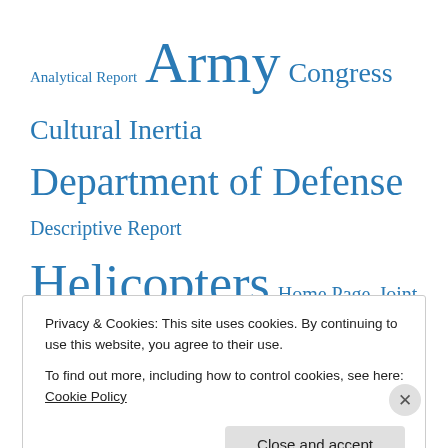[Figure (infographic): Tag cloud showing various topic tags in different font sizes representing frequency/importance. Tags in blue: Analytical Report, Army (largest), Congress, Cultural Inertia, Department of Defense, Descriptive Report, Helicopters (very large), Home Page, Joint Chiefs of Staff, Media Coverage (largest), Must Read, NATO, Official Statement, Point-Counterpoint, SPC Clark (very large), Top Read, Training, Uncategorized, US]
Privacy & Cookies: This site uses cookies. By continuing to use this website, you agree to their use.
To find out more, including how to control cookies, see here: Cookie Policy
Close and accept